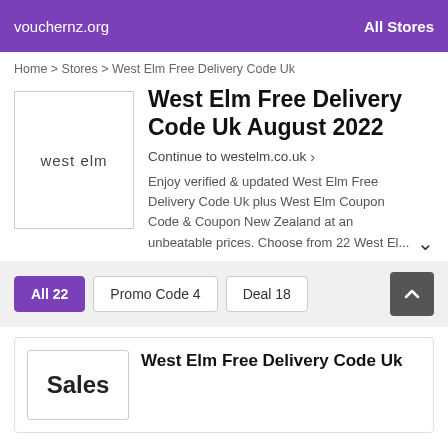vouchernz.org   All Stores
Home > Stores > West Elm Free Delivery Code Uk
West Elm Free Delivery Code Uk August 2022
Continue to westelm.co.uk >
[Figure (logo): West Elm logo with text 'west elm' in a bordered box]
Enjoy verified & updated West Elm Free Delivery Code Uk plus West Elm Coupon Code & Coupon New Zealand at an unbeatable prices. Choose from 22 West El...
All 22   Promo Code 4   Deal 18
West Elm Free Delivery Code Uk
Sales